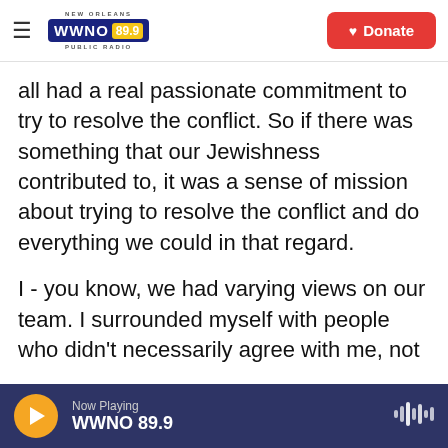NEW ORLEANS WWNO 89.9 PUBLIC RADIO | Donate
all had a real passionate commitment to try to resolve the conflict. So if there was something that our Jewishness contributed to, it was a sense of mission about trying to resolve the conflict and do everything we could in that regard.
I - you know, we had varying views on our team. I surrounded myself with people who didn't necessarily agree with me, not because I'm a saint, but because I realized they would think of things that I might not. We would thrash everything out on our side. But the one premise that guided all of us was not only a commitment to try to resolve the
Now Playing WWNO 89.9